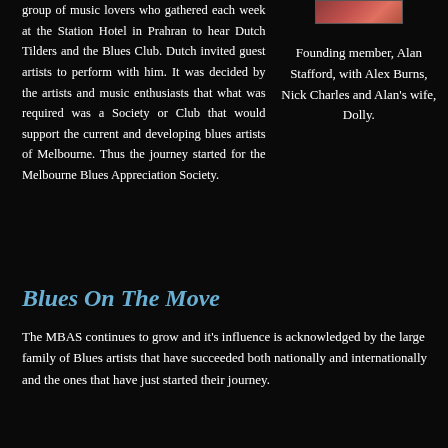group of music lovers who gathered each week at the Station Hotel in Prahran to hear Dutch Tilders and the Blues Club. Dutch invited guest artists to perform with him. It was decided by the artists and music enthusiasts that what was required was a Society or Club that would support the current and developing blues artists of Melbourne. Thus the journey started for the Melbourne Blues Appreciation Society.
[Figure (photo): Small photo of founding members]
Founding member, Alan Stafford, with Alex Burns, Nick Charles and Alan's wife, Dolly.
Blues On The Move
The MBAS continues to grow and it's influence is acknowledged by the large family of Blues artists that have succeeded both nationally and internationally and the ones that have just started their journey.